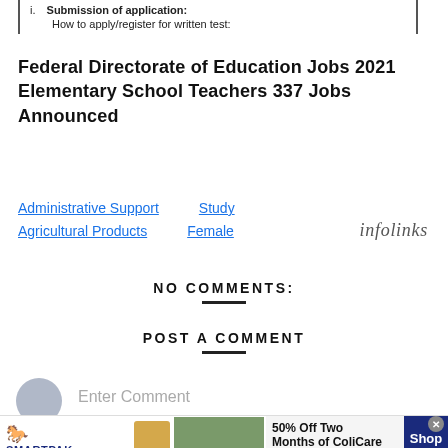i. Submission of application:
How to apply/register for written test:
Federal Directorate of Education Jobs 2021 Elementary School Teachers 337 Jobs Announced
Administrative Support   Study
Agricultural Products   Female   infolinks
NO COMMENTS:
POST A COMMENT
Enter Comment
[Figure (infographic): Advertisement banner for SmartPak showing a product image, horse and rider photo, text '50% Off Two Months of ColiCare, ColiCare Eligible Supplements, CODE: COLICARE10', and a blue 'Shop Now' button. Infolinks badge visible.]